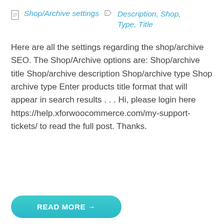Shop/Archive settings  Description, Shop, Type, Title
Here are all the settings regarding the shop/archive SEO. The Shop/Archive options are: Shop/archive title Shop/archive description Shop/archive type Shop archive type Enter products title format that will appear in search results . . . Hi, please login here https://help.xforwoocommerce.com/my-support-tickets/ to read the full post. Thanks.
READ MORE →